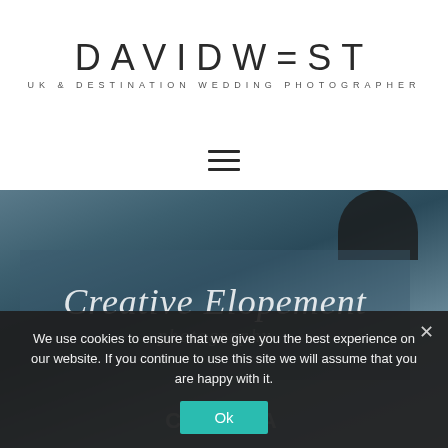DAVIDWEST
UK & DESTINATION WEDDING PHOTOGRAPHER
[Figure (screenshot): Hamburger menu icon (three horizontal lines)]
[Figure (photo): Dark moody background photo of a couple, with a semi-transparent overlay box containing the text 'Creative Elopement' in large italic script, and partial text below it. Location text 'CATNIA' (partially visible) at the bottom.]
We use cookies to ensure that we give you the best experience on our website. If you continue to use this site we will assume that you are happy with it.